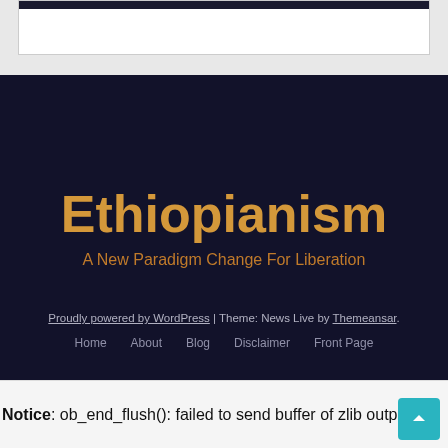[Figure (screenshot): Top white content card with dark header bar on light grey background]
Ethiopianism
A New Paradigm Change For Liberation
Proudly powered by WordPress | Theme: News Live by Themeansar.
Home   About   Blog   Disclaimer   Front Page
Notice: ob_end_flush(): failed to send buffer of zlib outp…